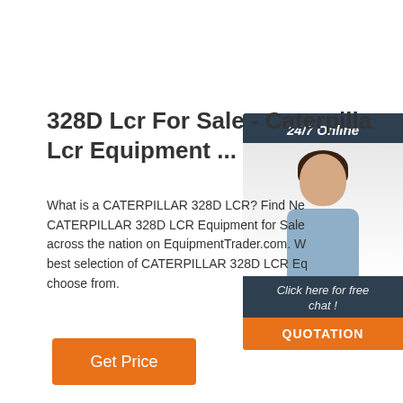328D Lcr For Sale - Caterpillar Lcr Equipment ...
What is a CATERPILLAR 328D LCR? Find New CATERPILLAR 328D LCR Equipment for Sale across the nation on EquipmentTrader.com. We best selection of CATERPILLAR 328D LCR Equipment to choose from.
[Figure (infographic): Chat widget with 24/7 Online label, female agent with headset, 'Click here for free chat!' text, and orange QUOTATION button]
[Figure (other): Orange 'Get Price' button]